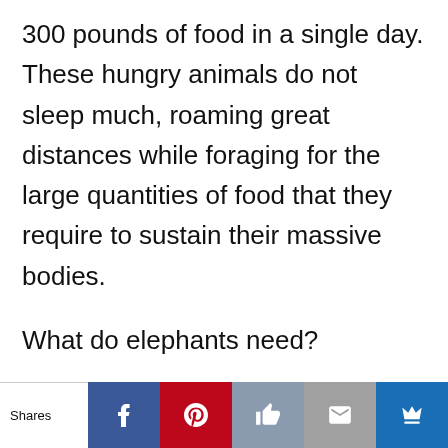300 pounds of food in a single day. These hungry animals do not sleep much, roaming great distances while foraging for the large quantities of food that they require to sustain their massive bodies.
What do elephants need?
Elephants need extensive land areas to survive and meet their ecological needs, which includes food, water, and space. On average, an elephant can feed up to 18 hours
Shares | Facebook | Pinterest | Like | Mail | Crown